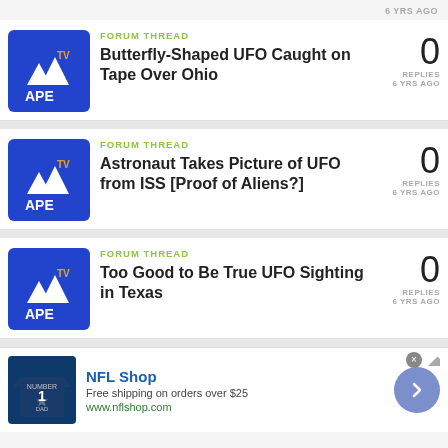6 YRS AGO
FORUM THREAD
Butterfly-Shaped UFO Caught on Tape Over Ohio
0
REPLIES
6 YRS AGO
FORUM THREAD
Astronaut Takes Picture of UFO from ISS [Proof of Aliens?]
0
REPLIES
6 YRS AGO
FORUM THREAD
Too Good to Be True UFO Sighting in Texas
0
REPLIES
6 YRS AGO
[Figure (infographic): NFL Shop advertisement with jersey image, brand name, free shipping offer, website URL, and navigation arrow button]